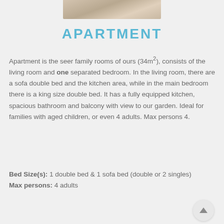[Figure (photo): Top portion of a room photo, partially visible at top of page]
APARTMENT
Apartment is the seer family rooms of ours (34m²), consists of the living room and one separated bedroom. In the living room, there are a sofa double bed and the kitchen area, while in the main bedroom there is a king size double bed. It has a fully equipped kitchen, spacious bathroom and balcony with view to our garden. Ideal for families with aged children, or even 4 adults. Max persons 4.
Bed Size(s): 1 double bed & 1 sofa bed (double or 2 singles)
Max persons: 4 adults
[Figure (photo): Balcony or terrace with wooden furniture and garden/trees view]